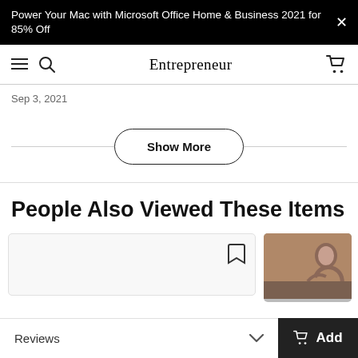Power Your Mac with Microsoft Office Home & Business 2021 for 85% Off
Entrepreneur
Sep 3, 2021
Show More
People Also Viewed These Items
[Figure (screenshot): Product card placeholder with bookmark icon]
[Figure (photo): Person in athletic wear doing yoga or stretching]
Reviews
Add